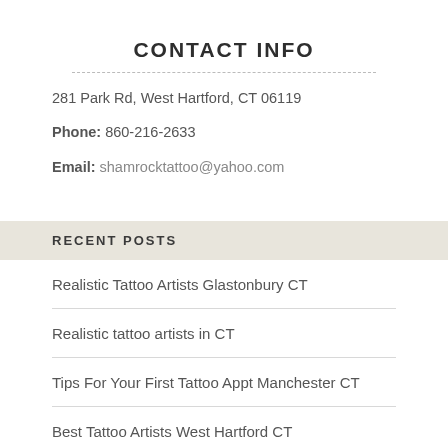CONTACT INFO
281 Park Rd, West Hartford, CT 06119
Phone: 860-216-2633
Email: shamrocktattoo@yahoo.com
RECENT POSTS
Realistic Tattoo Artists Glastonbury CT
Realistic tattoo artists in CT
Tips For Your First Tattoo Appt Manchester CT
Best Tattoo Artists West Hartford CT